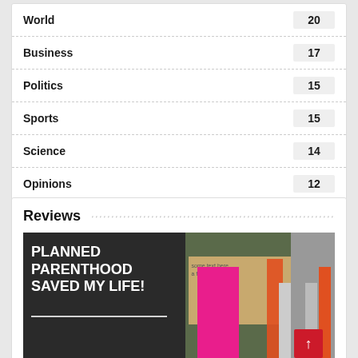World  20
Business  17
Politics  15
Sports  15
Science  14
Opinions  12
Reviews
[Figure (photo): Protest photo showing person holding a chalkboard sign reading 'PLANNED PARENTHOOD SAVED MY LIFE!' alongside other colorful protest signs including a cardboard sign]